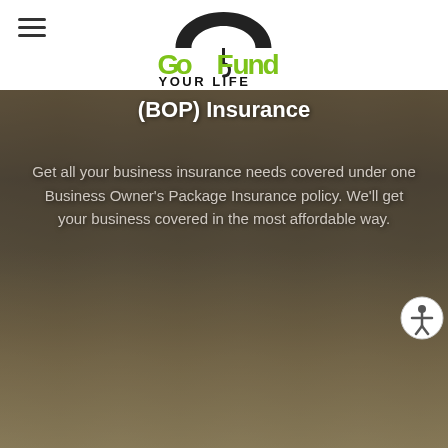[Figure (logo): Go Fund Your Life logo with umbrella icon, green and black text]
(BOP) Insurance
Get all your business insurance needs covered under one Business Owner's Package Insurance policy. We'll get your business covered in the most affordable way.
[Figure (photo): Background photo of a deli/bakery store with two people smiling behind a display counter filled with food items]